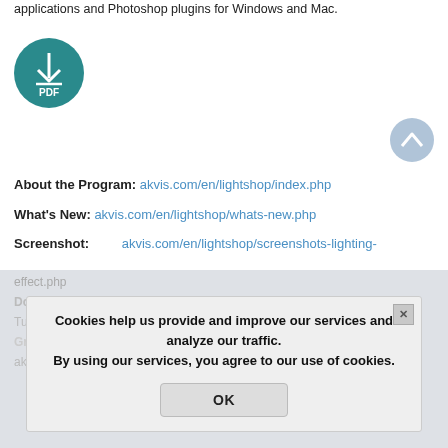applications and Photoshop plugins for Windows and Mac.
[Figure (logo): Teal circular PDF download icon with downward arrow and 'PDF' text]
[Figure (other): Light blue circular scroll-to-top button with upward chevron]
About the Program: akvis.com/en/lightshop/index.php
What's New: akvis.com/en/lightshop/whats-new.php
Screenshot: akvis.com/en/lightshop/screenshots-lighting-effect.php
Download: akvis.com/en/lightshop/download-lighting-effect.php
Tutorials: ...
Graphics: akvis.com/en/c[...].php
akvis.com | press@akvis.com
Cookies help us provide and improve our services and analyze our traffic.
By using our services, you agree to our use of cookies.